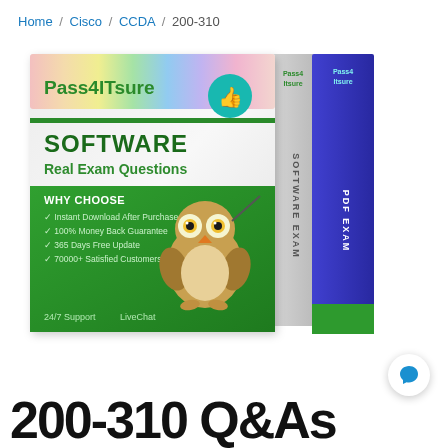Home / Cisco / CCDA / 200-310
[Figure (illustration): Pass4ITsure software exam product box showing branding, SOFTWARE Real Exam Questions text, WHY CHOOSE section with bullet points, owl mascot, and side panels labeled SOFTWARE EXAM and PDF EXAM]
200-310 Q&As